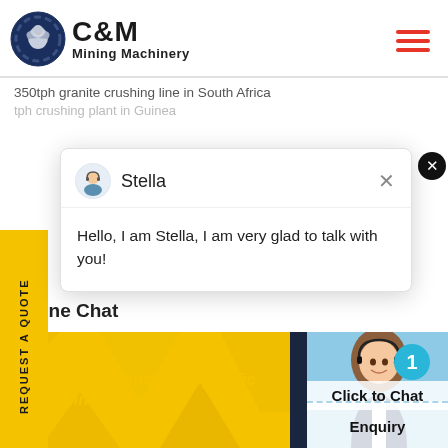[Figure (logo): C&M Mining Machinery logo with eagle gear emblem in dark navy circle and bold text]
350tph granite crushing line in South Africa
tph crushing plant in Guinea
[Figure (screenshot): Chat popup with avatar of Stella, close button, and message: Hello, I am Stella, I am very glad to talk with you!]
REQUEST A QUOTE
line Chat
need to contact a specific online service?
[Figure (photo): Customer service woman with headset smiling, with teal badge showing number 1]
Click to Chat
Enquiry